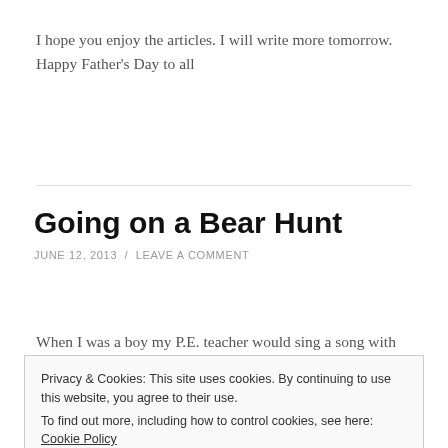I hope you enjoy the articles. I will write more tomorrow. Happy Father's Day to all
Going on a Bear Hunt
JUNE 12, 2013 / LEAVE A COMMENT
When I was a boy my P.E. teacher would sing a song with
Privacy & Cookies: This site uses cookies. By continuing to use this website, you agree to their use.
To find out more, including how to control cookies, see here: Cookie Policy
came to an obstacle he would say “Can’t go around it.